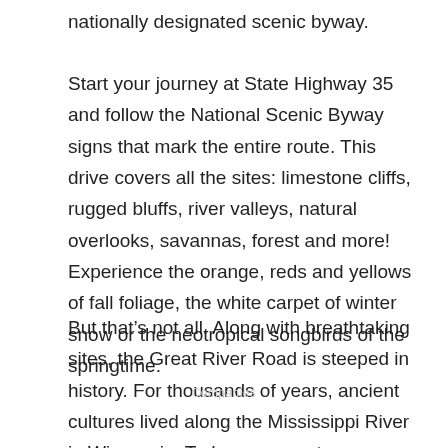nationally designated scenic byway.
Start your journey at State Highway 35 and follow the National Scenic Byway signs that mark the entire route. This drive covers all the sites: limestone cliffs, rugged bluffs, river valleys, natural overlooks, savannas, forest and more! Experience the orange, reds and yellows of fall foliage, the white carpet of winter snow or the neotropical songbirds of the springtime.
But that’s not all. Along with breathtaking sites, the Great River Road is steeped in history. For thousands of years, ancient cultures lived along the Mississippi River in Wisconsin. Today, you can tour some of the famous sites like Villa Louis in Prairie du Chien and Cassville’s